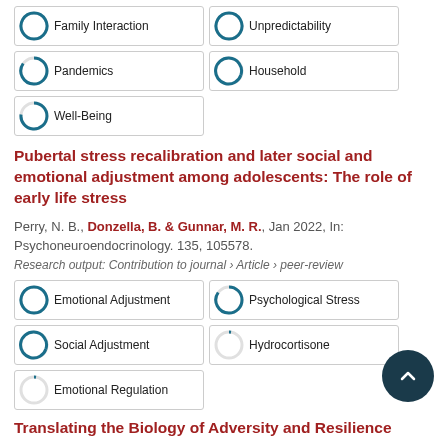100% Family Interaction
100% Unpredictability
75% Pandemics
67% Household
50% Well-Being
Pubertal stress recalibration and later social and emotional adjustment among adolescents: The role of early life stress
Perry, N. B., Donzella, B. & Gunnar, M. R., Jan 2022, In: Psychoneuroendocrinology. 135, 105578.
Research output: Contribution to journal › Article › peer-review
100% Emotional Adjustment
75% Psychological Stress
67% Social Adjustment
13% Hydrocortisone
13% Emotional Regulation
Translating the Biology of Adversity and Resilience